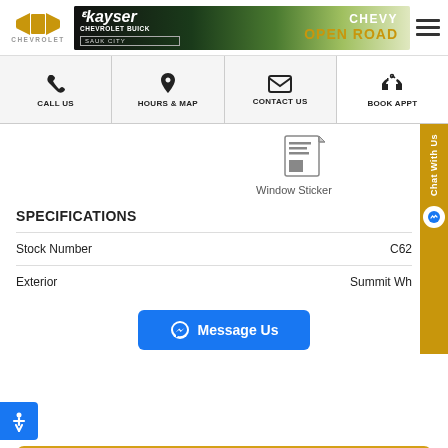Kayser Chevrolet Buick Sauk City — Chevy Open Road banner
CALL US
HOURS & MAP
CONTACT US
BOOK APPT
[Figure (illustration): Window Sticker icon — a document with lines]
Window Sticker
SPECIFICATIONS
|  |  |
| --- | --- |
| Stock Number | C62… |
| Exterior | Summit Wh… |
[Figure (other): Message Us button with Messenger icon]
CONFIRM AVAILABILITY